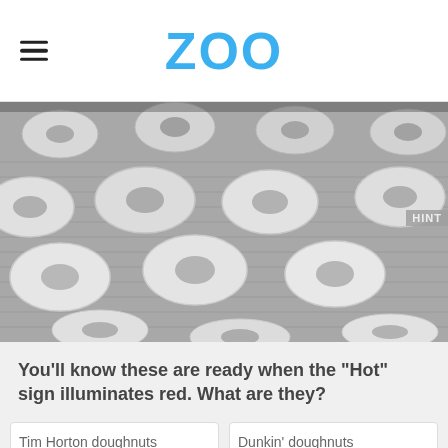ZOO
[Figure (photo): Black and white / grayscale photo of many unglazed ring doughnuts on a conveyor belt or rack, viewed from above at an angle. The doughnuts are pale/white and arranged in rows on a ridged surface. Watermark reads: MASHED via YouTube]
MASHED via YouTube
You'll know these are ready when the "Hot" sign illuminates red. What are they?
Tim Horton doughnuts
Dunkin' doughnuts